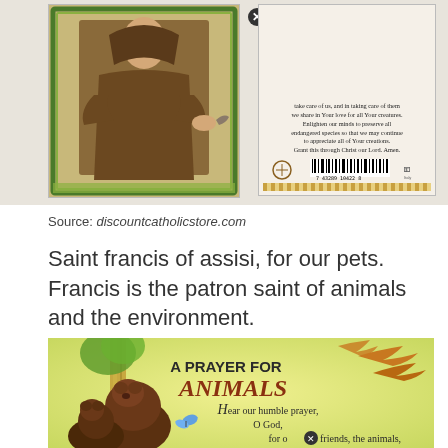[Figure (photo): Two holy cards: left shows Saint Francis of Assisi illustrated figure with decorative border; right shows reverse of prayer card with text about taking care of animals, a barcode, and decorative border.]
Source: discountcatholicstore.com
Saint francis of assisi, for our pets. Francis is the patron saint of animals and the environment.
[Figure (photo): A Prayer for Animals book/card cover showing illustrated bear cubs near a tree, geese flying, a butterfly, with title 'A PRAYER FOR ANIMALS' and text 'Hear our humble prayer, O God, for o[x]friends, the animals,']